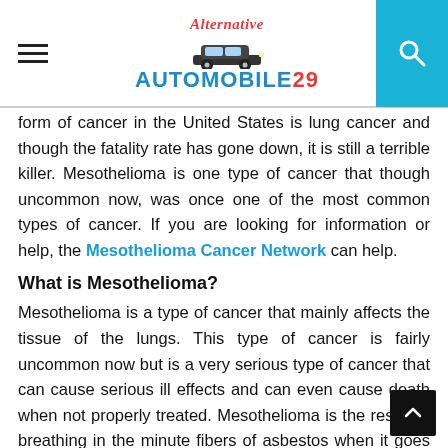Alternative AUTOMOBILE 29
form of cancer in the United States is lung cancer and though the fatality rate has gone down, it is still a terrible killer. Mesothelioma is one type of cancer that though uncommon now, was once one of the most common types of cancer. If you are looking for information or help, the Mesothelioma Cancer Network can help.
What is Mesothelioma?
Mesothelioma is a type of cancer that mainly affects the tissue of the lungs. This type of cancer is fairly uncommon now but is a very serious type of cancer that can cause serious ill effects and can even cause death when not properly treated. Mesothelioma is the result of breathing in the minute fibers of asbestos when it goes air born.
Asbestos was commonly used to help insulate vehicles and